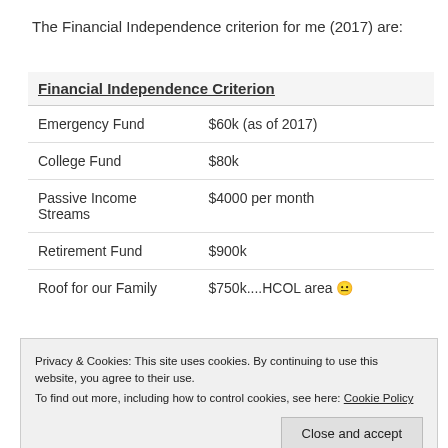The Financial Independence criterion for me (2017) are:
| Financial Independence Criterion |  |
| --- | --- |
| Emergency Fund | $60k (as of 2017) |
| College Fund | $80k |
| Passive Income Streams | $4000 per month |
| Retirement Fund | $900k |
| Roof for our Family | $750k....HCOL area 😐 |
Privacy & Cookies: This site uses cookies. By continuing to use this website, you agree to their use.
To find out more, including how to control cookies, see here: Cookie Policy
For 2017, I have thought about the following goals to